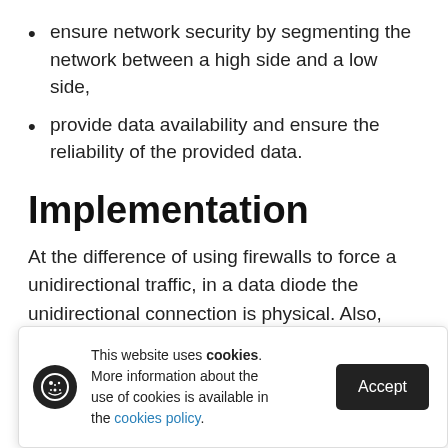ensure network security by segmenting the network between a high side and a low side,
provide data availability and ensure the reliability of the provided data.
Implementation
At the difference of using firewalls to force a unidirectional traffic, in a data diode the unidirectional connection is physical. Also, those firewalls can be compromised, whilst the [connection is maintained] by its [description] [direction] [low and]
This website uses cookies. More information about the use of cookies is available in the cookies policy.